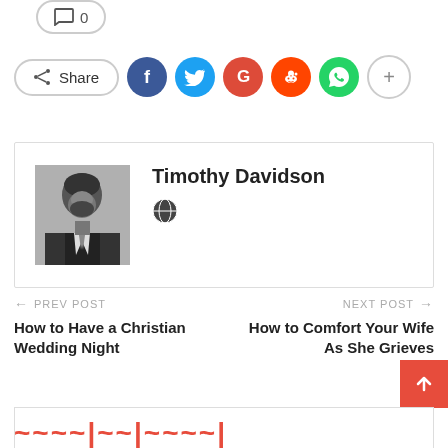[Figure (infographic): Comment count button showing speech bubble icon and count 0]
[Figure (infographic): Social share bar with Share button and social media icons: Facebook (blue), Twitter (cyan), Google+ (red), Reddit (orange-red), WhatsApp (green), plus button (gray outline)]
[Figure (infographic): Author box with black and white photo of Timothy Davidson (man with beard in suit) and globe/website icon]
Timothy Davidson
PREV POST  How to Have a Christian Wedding Night
NEXT POST  How to Comfort Your Wife As She Grieves